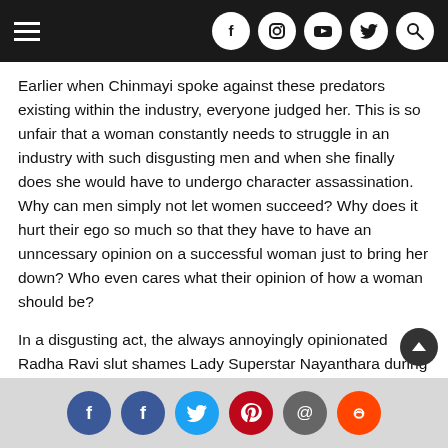Navigation bar with hamburger menu and social icons (Facebook, Instagram, YouTube, Twitter, Search)
Earlier when Chinmayi spoke against these predators existing within the industry, everyone judged her. This is so unfair that a woman constantly needs to struggle in an industry with such disgusting men and when she finally does she would have to undergo character assassination. Why can men simply not let women succeed? Why does it hurt their ego so much so that they have to have an unncessary opinion on a successful woman just to bring her down? Who even cares what their opinion of how a woman should be?
In a disgusting act, the always annoyingly opinionated Radha Ravi slut shames Lady Superstar Nayanthara during the launch of 'Kolaiyudhir Kaalam' trailer. (
Share icons: Facebook, Facebook, Twitter, Pinterest, Email, Reddit